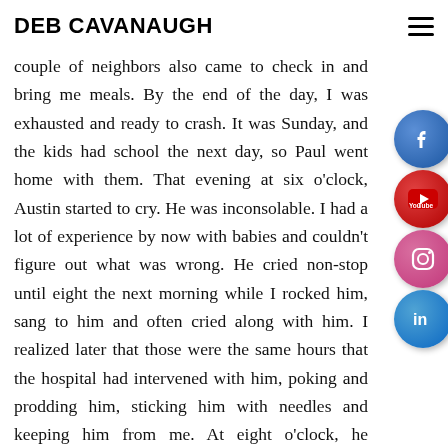DEB CAVANAUGH
couple of neighbors also came to check in and bring me meals. By the end of the day, I was exhausted and ready to crash. It was Sunday, and the kids had school the next day, so Paul went home with them. That evening at six o'clock, Austin started to cry. He was inconsolable. I had a lot of experience by now with babies and couldn't figure out what was wrong. He cried non-stop until eight the next morning while I rocked him, sang to him and often cried along with him. I realized later that those were the same hours that the hospital had intervened with him, poking and prodding him, sticking him with needles and keeping him from me. At eight o'clock, he stopped as though someone had turned a switch. After that, he never really cried much. He would fuss a little when hungry
[Figure (infographic): Social media icons on the right side: Facebook (blue circle with f), YouTube (red circle with You Tube text), Instagram (pink/magenta circle with camera icon), LinkedIn (blue circle with in)]